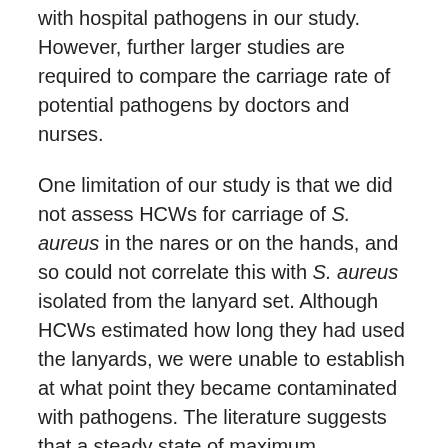with hospital pathogens in our study. However, further larger studies are required to compare the carriage rate of potential pathogens by doctors and nurses.
One limitation of our study is that we did not assess HCWs for carriage of S. aureus in the nares or on the hands, and so could not correlate this with S. aureus isolated from the lanyard set. Although HCWs estimated how long they had used the lanyards, we were unable to establish at what point they became contaminated with pathogens. The literature suggests that a steady state of maximum contamination is reached quickly and does not significantly change thereafter.10 A prospective study to determine the timing of acquisition and duration of bacterial contamination in a clinical setting may be useful.
Lanyards are the most common means of carrying identity badges as well as a variety of non-essential